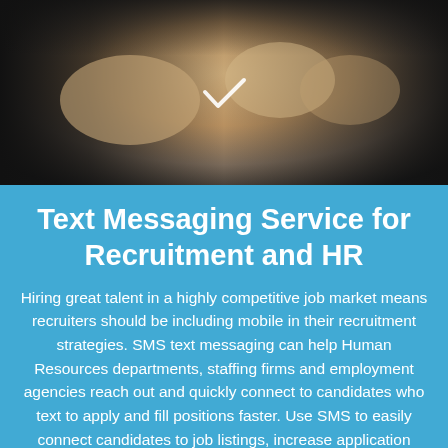[Figure (photo): Close-up photo of human hands with a small white checkmark icon visible in the center]
Text Messaging Service for Recruitment and HR
Hiring great talent in a highly competitive job market means recruiters should be including mobile in their recruitment strategies. SMS text messaging can help Human Resources departments, staffing firms and employment agencies reach out and quickly connect to candidates who text to apply and fill positions faster. Use SMS to easily connect candidates to job listings, increase application completion rates